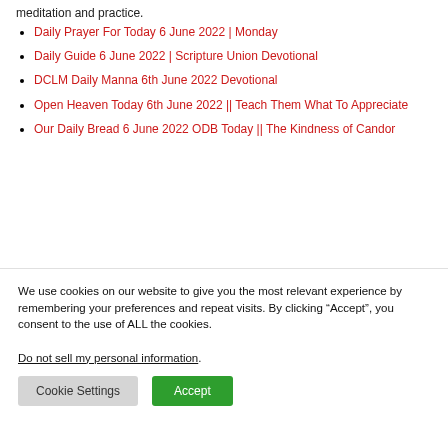meditation and practice.
Daily Prayer For Today 6 June 2022 | Monday
Daily Guide 6 June 2022 | Scripture Union Devotional
DCLM Daily Manna 6th June 2022 Devotional
Open Heaven Today 6th June 2022 || Teach Them What To Appreciate
Our Daily Bread 6 June 2022 ODB Today || The Kindness of Candor
We use cookies on our website to give you the most relevant experience by remembering your preferences and repeat visits. By clicking “Accept”, you consent to the use of ALL the cookies.
Do not sell my personal information.